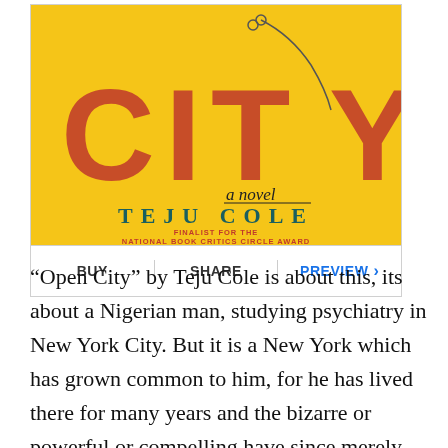[Figure (illustration): Book cover of 'Open City' by Teju Cole on a yellow background with large red-orange letters spelling CITY, with 'a novel' in script, and 'TEJU COLE' in teal serif font. Subtitle: FINALIST FOR THE NATIONAL BOOK CRITICS CIRCLE AWARD.]
BUY | SHARE | PREVIEW >
“Open City” by Teju Cole is about this, its about a Nigerian man, studying psychiatry in New York City. But it is a New York which has grown common to him, for he has lived there for many years and the bizarre or powerful or compelling have since merely faded into the background of the life of a migrant. This novel is about nothing. There